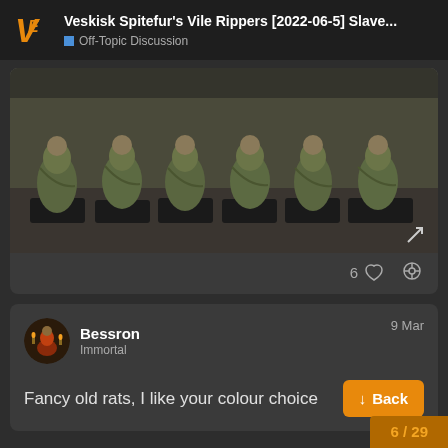Veskisk Spitefur's Vile Rippers [2022-06-5] Slave... Off-Topic Discussion
[Figure (photo): Photo of painted fantasy/wargaming miniatures — rat-like creatures on black bases, painted in green and brown tones, arranged in a row on a grey surface.]
6
Bessron
Immortal
9 Mar
Fancy old rats, I like your colour choice
Back
6 / 29